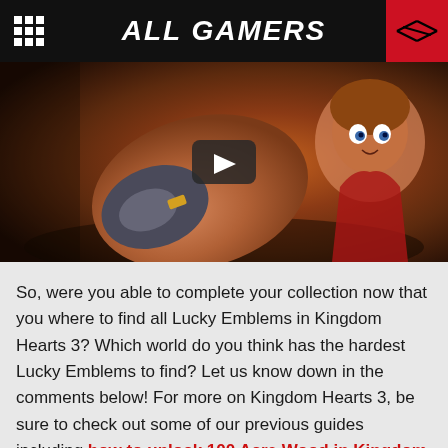ALL GAMERS
[Figure (screenshot): Video thumbnail showing animated character from Kingdom Hearts 3 reaching forward, with a play button overlay in the center]
So, were you able to complete your collection now that you where to find all Lucky Emblems in Kingdom Hearts 3? Which world do you think has the hardest Lucky Emblems to find? Let us know down in the comments below! For more on Kingdom Hearts 3, be sure to check out some of our previous guides including how to unlock 100 Acre Wood in Kingdom Hearts 3, how to skip and rewatch cutscenes in Kingdom Hearts 3, and where to mail Postcards in